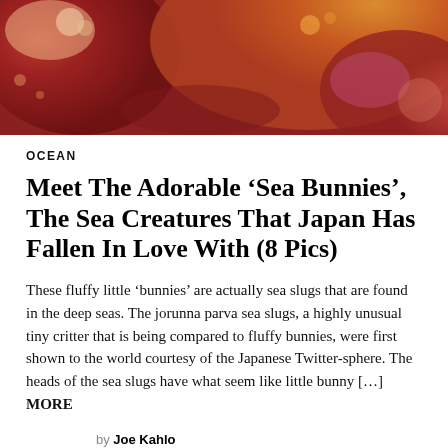[Figure (photo): Close-up underwater photo of colorful sea creatures, showing red, orange, yellow tones with textured marine organisms]
OCEAN
Meet The Adorable ‘Sea Bunnies’, The Sea Creatures That Japan Has Fallen In Love With (8 Pics)
These fluffy little ‘bunnies’ are actually sea slugs that are found in the deep seas. The jorunna parva sea slugs, a highly unusual tiny critter that is being compared to fluffy bunnies, were first shown to the world courtesy of the Japanese Twitter-sphere. The heads of the sea slugs have what seem like little bunny […] MORE
by Joe Kahlo
September 2, 2022, 5:54 am
Read More